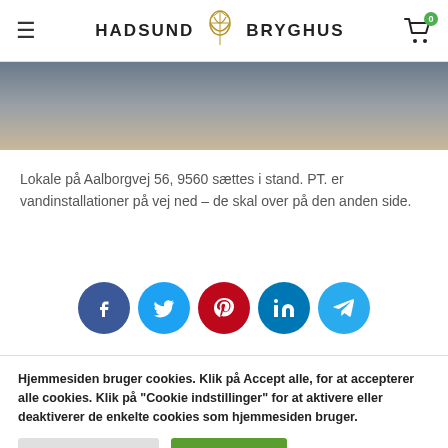≡ HADSUND BRYGHUS [cart: 0]
[Figure (photo): Cropped photo of a person in a dark blue t-shirt, appearing to be in an indoor setting]
Lokale på Aalborgvej 56, 9560 sættes i stand. PT. er vandinstallationer på vej ned – de skal over på den anden side.
[Figure (infographic): Row of five social media share buttons: Facebook (dark blue), Twitter (cyan), Pinterest (red), LinkedIn (dark blue), Telegram (cyan)]
Hjemmesiden bruger cookies. Klik på Accept alle, for at accepterer alle cookies. Klik på "Cookie indstillinger" for at aktivere eller deaktiverer de enkelte cookies som hjemmesiden bruger.
Cookie indstillinger   Accepter alle